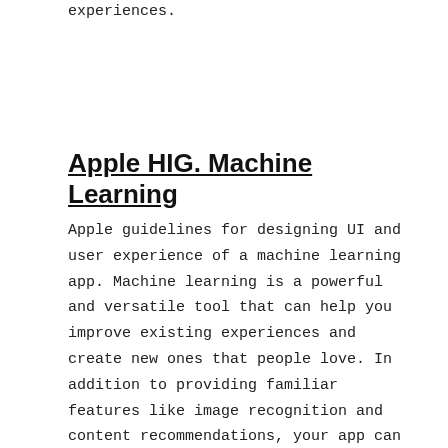experiences.
Apple HIG. Machine Learning
Apple guidelines for designing UI and user experience of a machine learning app. Machine learning is a powerful and versatile tool that can help you improve existing experiences and create new ones that people love. In addition to providing familiar features like image recognition and content recommendations, your app can use machine learning to forge deep